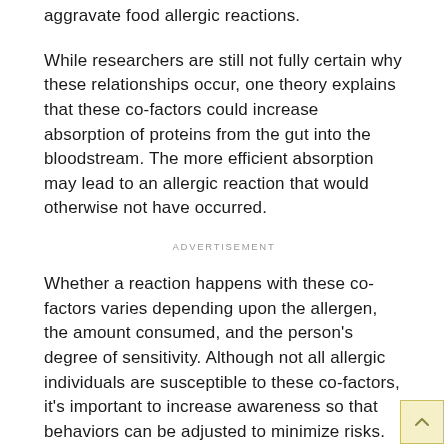aggravate food allergic reactions.
While researchers are still not fully certain why these relationships occur, one theory explains that these co-factors could increase absorption of proteins from the gut into the bloodstream. The more efficient absorption may lead to an allergic reaction that would otherwise not have occurred.
ADVERTISEMENT
Whether a reaction happens with these co-factors varies depending upon the allergen, the amount consumed, and the person's degree of sensitivity. Although not all allergic individuals are susceptible to these co-factors, it's important to increase awareness so that behaviors can be adjusted to minimize risks.
For example, some suggest that eating meals prepared at home with familiar ingredients before and after exercise can help minimize risks.